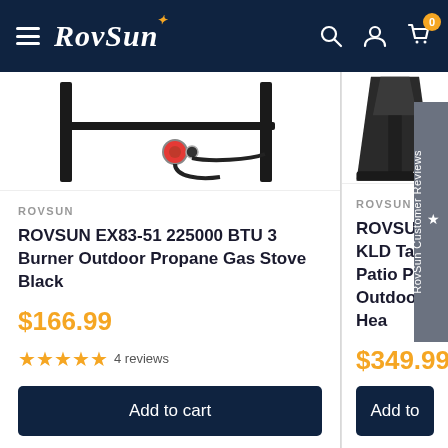RovSun — Navigation header with hamburger menu, logo, search, account, and cart icons (0 items)
[Figure (photo): Partial view of ROVSUN EX83-51 propane gas stove product image showing black burner tubes and red/chrome knob detail]
ROVSUN
ROVSUN EX83-51 225000 BTU 3 Burner Outdoor Propane Gas Stove Black
$166.99
★★★★★ 4 reviews
Add to cart
[Figure (photo): Partial view of ROVSUN KLD Tall Patio Outdoor Heater product image, partially cut off on the right side]
ROVSUN
ROVSUN KLD Tall Patio Py... Outdoor Hea...
$349.99
Add to
★ RovSun Customer Reviews